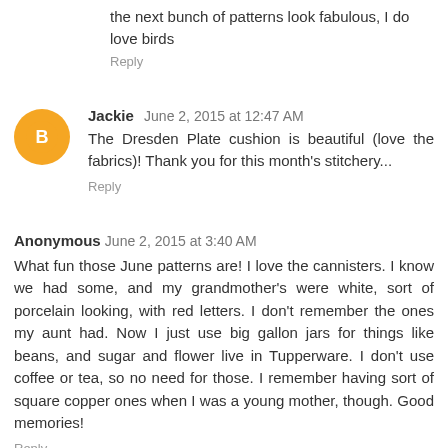the next bunch of patterns look fabulous, I do love birds
Reply
Jackie  June 2, 2015 at 12:47 AM
The Dresden Plate cushion is beautiful (love the fabrics)! Thank you for this month's stitchery...
Reply
Anonymous  June 2, 2015 at 3:40 AM
What fun those June patterns are! I love the cannisters. I know we had some, and my grandmother's were white, sort of porcelain looking, with red letters. I don't remember the ones my aunt had. Now I just use big gallon jars for things like beans, and sugar and flower live in Tupperware. I don't use coffee or tea, so no need for those. I remember having sort of square copper ones when I was a young mother, though. Good memories!
Reply